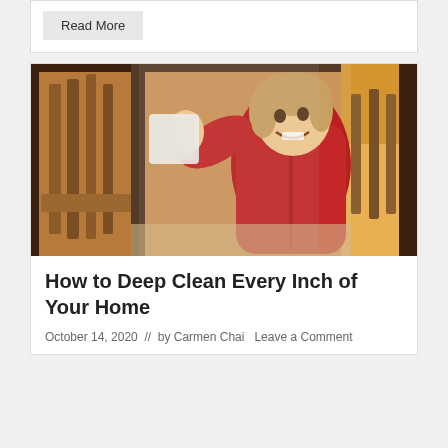Read More
[Figure (photo): A smiling young child in a red outfit pressing a piece of paper towel against a glass door, with wooden furniture visible in the background. The door frame is dark wood.]
How to Deep Clean Every Inch of Your Home
October 14, 2020  //  by Carmen Chai  Leave a Comment